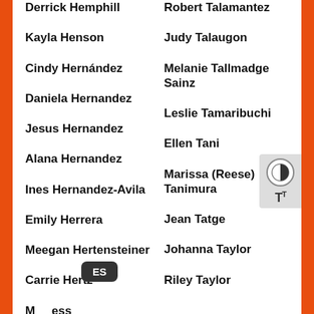Derrick Hemphill
Kayla Henson
Cindy Hernández
Daniela Hernandez
Jesus Hernandez
Alana Hernandez
Ines Hernandez-Avila
Emily Herrera
Meegan Hertensteiner
Carrie Hertz
Marisess
Robert Talamantez
Judy Talaugon
Melanie Tallmadge Sainz
Leslie Tamaribuchi
Ellen Tani
Marissa (Reese) Tanimura
Jean Tatge
Johanna Taylor
Riley Taylor